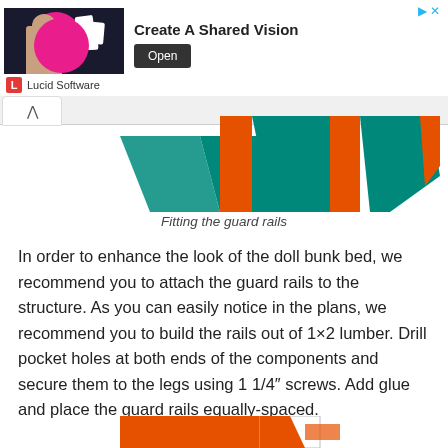[Figure (screenshot): Advertisement banner for Lucid Software: 'Create A Shared Vision' with Open button]
[Figure (illustration): Partial view of a doll bunk bed diagram showing guard rails in teal and orange colors]
Fitting the guard rails
In order to enhance the look of the doll bunk bed, we recommend you to attach the guard rails to the structure. As you can easily notice in the plans, we recommend you to build the rails out of 1×2 lumber. Drill pocket holes at both ends of the components and secure them to the legs using 1 1/4″ screws. Add glue and place the guard rails equally-spaced.
[Figure (illustration): Partial bottom view of the bunk bed structure in orange and white]